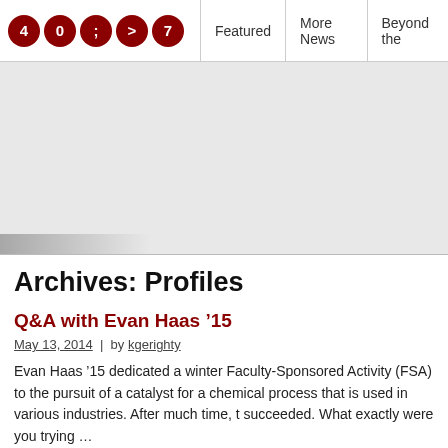4 0 ; > 7 | Featured | More News | Beyond the
[Figure (other): Grey banner/header image area with a partial shadow element at bottom left]
Archives: Profiles
Q&A with Evan Haas '15
May 13, 2014 | by kgerighty
Evan Haas '15 dedicated a winter Faculty-Sponsored Activity (FSA) to the pursuit of a catalyst for a chemical process that is used in various industries. After much time, t succeeded. What exactly were you trying …
read more